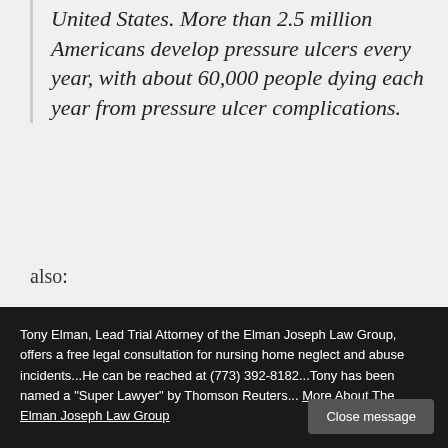United States. More than 2.5 million Americans develop pressure ulcers every year, with about 60,000 people dying each year from pressure ulcer complications.
also:
Pressure ulcers can develop in as little
Tony Elman, Lead Trial Attorney of the Elman Joseph Law Group, offers a free legal consultation for nursing home neglect and abuse incidents...He can be reached at (773) 392-8182...Tony has been named a "Super Lawyer" by Thomson Reuters... More About The Elman Joseph Law Group
Close message
hospitals and long-term care facilities